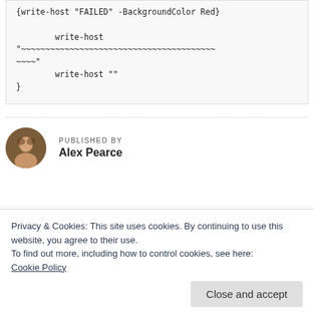{write-host "FAILED" -BackgroundColor Red}

        write-host
"~~~~~~~~~~~~~~~~~~~~~~~~~~~~~~~~~~~~~~~~
~~~~"
        write-host ""
}
PUBLISHED BY
Alex Pearce
Privacy & Cookies: This site uses cookies. By continuing to use this website, you agree to their use.
To find out more, including how to control cookies, see here:
Cookie Policy
Close and accept